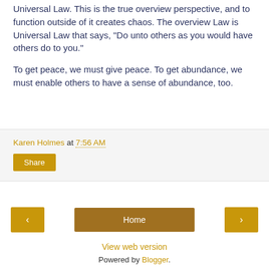Universal Law. This is the true overview perspective, and to function outside of it creates chaos. The overview Law is Universal Law that says, "Do unto others as you would have others do to you."
To get peace, we must give peace. To get abundance, we must enable others to have a sense of abundance, too.
Karen Holmes at 7:56 AM
Share
‹
Home
›
View web version
Powered by Blogger.